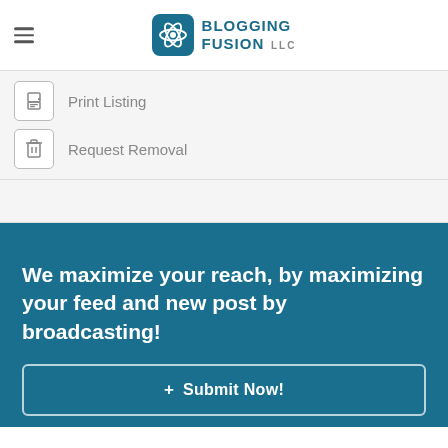[Figure (logo): Blogging Fusion LLC logo with atom icon and text]
Print Listing
Request Removal
We maximize your reach, by maximizing your feed and new post by broadcasting!
+ Submit Now!